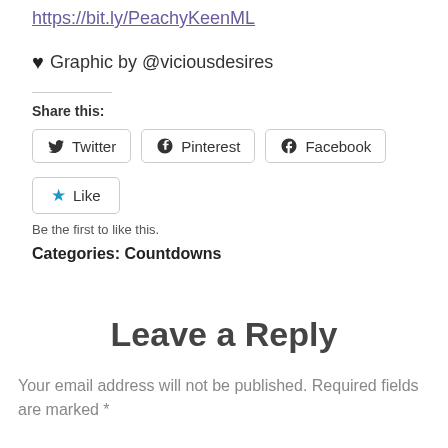https://bit.ly/PeachyKeenML
♥ Graphic by @viciousdesires
Share this:
Twitter  Pinterest  Facebook
★ Like
Be the first to like this.
Categories: Countdowns
Leave a Reply
Your email address will not be published. Required fields are marked *